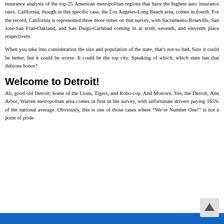insurance analysis of the top 25 American metropolitan regions that have the highest auto insurance rates. California, though in this specific case, the Los Angeles-Long Beach area, comes in fourth. For the record, California is represented three more times on that survey, with Sacramento-Roseville, San Jose-San Fran-Oakland, and San Diego-Carlsbad coming in at sixth, seventh, and eleventh place respectively.
When you take into consideration the size and population of the state, that's not so bad. Sure it could be better, but it could be worse. It could be the top city. Speaking of which, which state has that dubious honor?
Welcome to Detroit!
Ah, good old Detroit; home of the Lions, Tigers, and Robo-cop. And Motown. Yes, the Detroit, Ann Arbor, Warren metropolitan area comes in first in the survey, with unfortunate drivers paying 165% of the national average. Obviously, this is one of those cases where "We're Number One!" is not a point of pride.